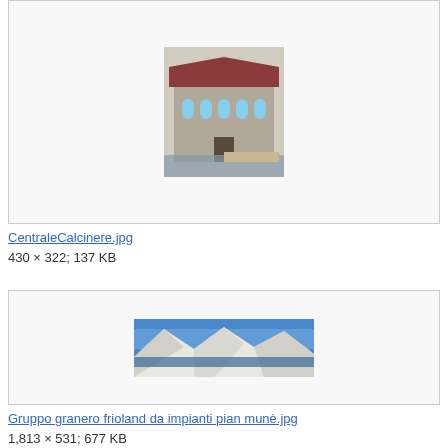[Figure (photo): Partial view of a stone building with red roof and water in front]
CentraleCalcinere.jpg
430 × 322; 137 KB
[Figure (photo): Panoramic mountain landscape with snow and blue sky, lake visible]
Gruppo granero frioland da impianti pian munè.jpg
1,813 × 531; 677 KB
[Figure (photo): Partial view of a yellow/orange cluster map or geographic illustration]